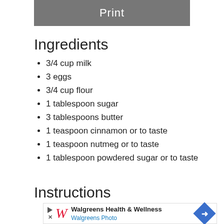Print
Ingredients
3/4 cup milk
3 eggs
3/4 cup flour
1 tablespoon sugar
3 tablespoons butter
1 teaspoon cinnamon or to taste
1 teaspoon nutmeg or to taste
1 tablespoon powdered sugar or to taste
Instructions
[Figure (screenshot): Walgreens Health & Wellness / Walgreens Photo advertisement banner]